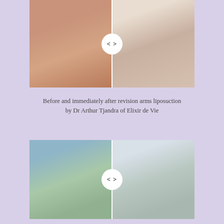[Figure (photo): Before and after comparison photo of revision arms liposuction, showing two side-by-side images split with a slider circle in the center. Top image shows chest/breast area side profile comparison.]
Before and immediately after revision arms liposuction by Dr Arthur Tjandra of Elixir de Vie
[Figure (photo): Before and after comparison photo of revision arms liposuction, showing two side-by-side images split with a slider circle in the center. Bottom image shows a doctor performing liposuction procedure on the left and a patient result standing on the right.]
Before and immediately after revision arms liposuction by Dr Arthur Tjandra of Elixir de Vie